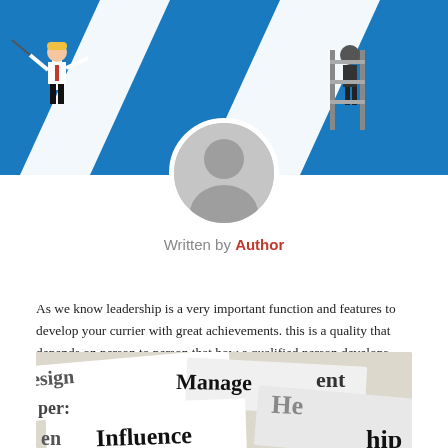[Figure (illustration): Top banner with blue background and white diagonal stripes, featuring a business person cartoon figure holding a pointer or flag.]
[Figure (photo): Circular avatar placeholder icon with grey background showing a generic person silhouette.]
Written by Author
As we know leadership is a very important function and features to develop your currier with great achievements. this is a quality that depends on person to person that how a qualified person develops their quality.
[Figure (photo): Close-up photo of paper tags or labels with words including 'Management', 'Influence', 'He', 'Design', 'per', 'en', and other partially visible leadership/management related words.]